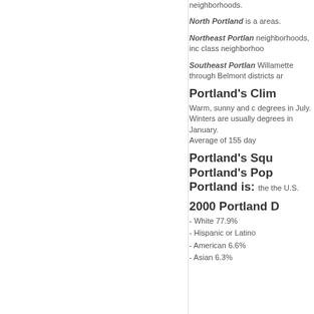neighborhoods.
North Portland is a areas.
Northeast Portland neighborhoods, inc class neighborhood
Southeast Portland Willamette through Belmont districts ar
Portland's Clim
Warm, sunny and c degrees in July. Winters are usually degrees in January. Average of 155 day
Portland's Squ
Portland's Pop
Portland is: the the U.S.
2000 Portland D
- White 77.9%
- Hispanic or Latino
- American 6.6%
- Asian 6.3%